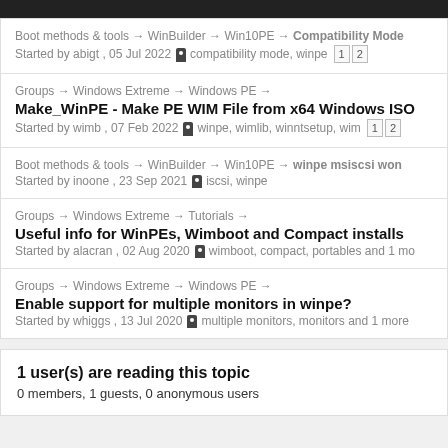Boot methods & tools → WinBuilder → Win10PE → Compatibility Mode
Started by abigt , 05 Jul 2022 🏷 compatibility mode, winpe 1 2
Groups → Windows Extreme → Windows PE →
Make_WinPE - Make PE WIM File from x64 Windows ISO
Started by wimb , 07 Feb 2022 🏷 winpe, wimlib, winntsetup, wim 1 2
Boot methods & tools → WinBuilder → Win10PE → winpe msiscsi won
Started by inoone , 23 Sep 2021 🏷 iscsi, winpe
Groups → Windows Extreme → Tutorials →
Useful info for WinPEs, Wimboot and Compact installs
Started by alacran , 02 Aug 2020 🏷 wimboot, compact, portables and 1 mo
Groups → Windows Extreme → Windows PE →
Enable support for multiple monitors in winpe?
Started by whiggs , 13 Jul 2020 🏷 multiple monitors, monitors and 1 more
1 user(s) are reading this topic
0 members, 1 guests, 0 anonymous users